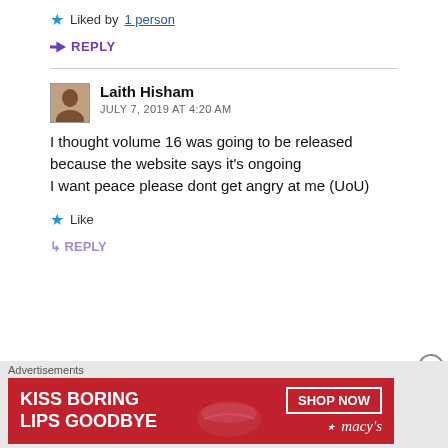Liked by 1 person
REPLY
Laith Hisham
JULY 7, 2019 AT 4:20 AM
I thought volume 16 was going to be released because the website says it's ongoing
I want peace please dont get angry at me (UoU)
Like
REPLY
Advertisements
[Figure (infographic): Macy's lipstick advertisement banner with text 'KISS BORING LIPS GOODBYE' and a 'SHOP NOW' button with Macy's logo on red background with model's face.]